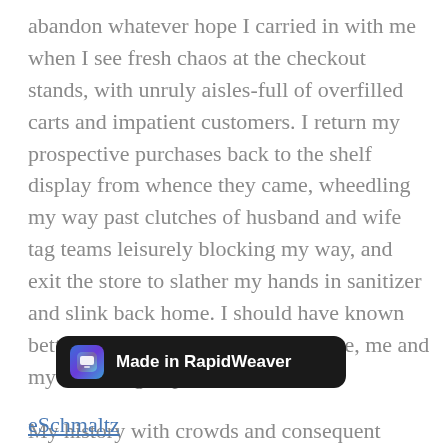abandon whatever hope I carried in with me when I see fresh chaos at the checkout stands, with unruly aisles-full of overfilled carts and impatient customers. I return my prospective purchases back to the shelf display from whence they came, wheedling my way past clutches of husband and wife tag teams leisurely blocking my way, and exit the store to slather my hands in sanitizer and slink back home. I should have known better than to have ever entered there, me and my surviving hope to find better.
My history with crowds and consequent Crow-Ding (that warning klaxon sounding in my head whenever entering a crowd) informs my relationship with them now.
Slip over here for more ...
[Figure (screenshot): Dark tooltip/notification bar reading 'Made in RapidWeaver' with app icon]
eSchmaltz